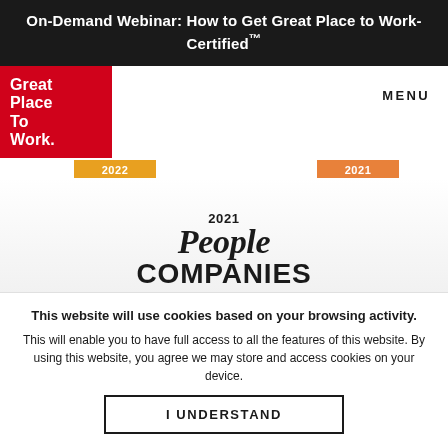On-Demand Webinar: How to Get Great Place to Work-Certified™
[Figure (logo): Great Place To Work red logo mark in top-left corner with MENU navigation label on right]
[Figure (logo): 2022 certification badge strip left and 2021 certification badge strip right in orange]
[Figure (logo): 2021 People Companies That Care logo in black text on light gray gradient background]
This website will use cookies based on your browsing activity.
This will enable you to have full access to all the features of this website. By using this website, you agree we may store and access cookies on your device.
I UNDERSTAND